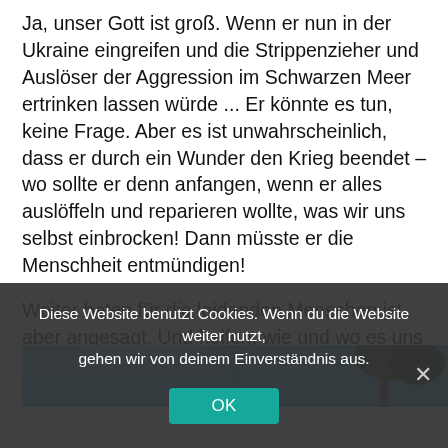Ja, unser Gott ist groß. Wenn er nun in der Ukraine eingreifen und die Strippenzieher und Auslöser der Aggression im Schwarzen Meer ertrinken lassen würde ... Er könnte es tun, keine Frage. Aber es ist unwahrscheinlich, dass er durch ein Wunder den Krieg beendet – wo sollte er denn anfangen, wenn er alles auslöffeln und reparieren wollte, was wir uns selbst einbrocken! Dann müsste er die Menschheit entmündigen!
Weiter beten für die leidenden Menschen ist aber angesagt. Und helfen, wie und wo es uns möglich ist. Zum Beispiel über ADRA.
[Figure (photo): Partial photo showing a blue sky with some trees or objects visible at the top of a cropped image strip.]
Diese Website benutzt Cookies. Wenn du die Website weiter nutzt, gehen wir von deinem Einverständnis aus.